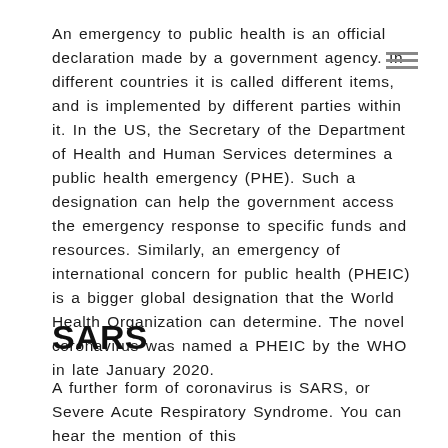An emergency to public health is an official declaration made by a government agency. In different countries it is called different items, and is implemented by different parties within it. In the US, the Secretary of the Department of Health and Human Services determines a public health emergency (PHE). Such a designation can help the government access the emergency response to specific funds and resources. Similarly, an emergency of international concern for public health (PHEIC) is a bigger global designation that the World Health Organization can determine. The novel coronavirus was named a PHEIC by the WHO in late January 2020.
SARS
A further form of coronavirus is SARS, or Severe Acute Respiratory Syndrome. You can hear the mention of this